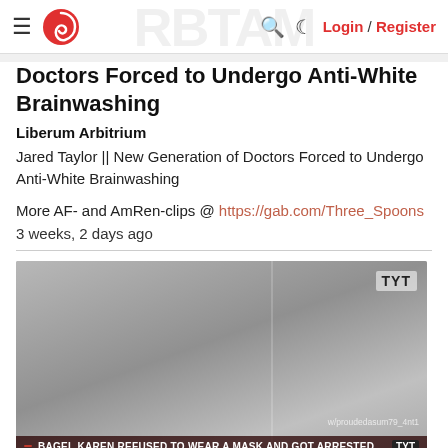≡ [Logo] [Search] [Moon] Login / Register
Doctors Forced to Undergo Anti-White Brainwashing
Liberum Arbitrium
Jared Taylor || New Generation of Doctors Forced to Undergo Anti-White Brainwashing
More AF- and AmRen-clips @ https://gab.com/Three_Spoons
3 weeks, 2 days ago
[Figure (screenshot): Video thumbnail showing TYT news segment about 'BAGEL KAREN REFUSED TO WEAR A MASK AND GOT ARRESTED' with view count 87 and duration 0:59]
racist pigs getting fired white men